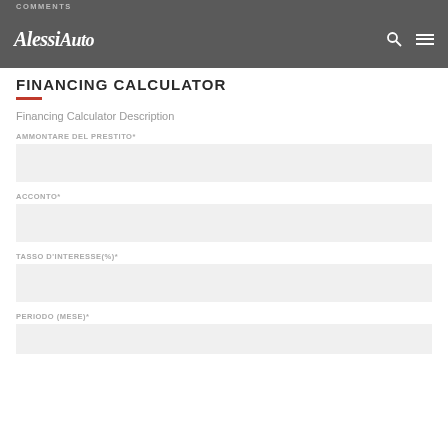COMMENTS
[Figure (logo): AlessiAuto logo in italic white script font on dark gray header bar]
FINANCING CALCULATOR
Financing Calculator Description
AMMONTARE DEL PRESTITO*
ACCONTO*
TASSO D'INTERESSE(%)*
PERIODO (MESE)*